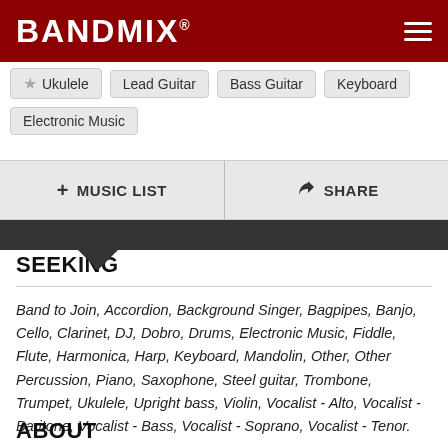BANDMIX®
Ukulele
Lead Guitar
Bass Guitar
Keyboard
Electronic Music
+ MUSIC LIST
SHARE
SEEKING
Band to Join, Accordion, Background Singer, Bagpipes, Banjo, Cello, Clarinet, DJ, Dobro, Drums, Electronic Music, Fiddle, Flute, Harmonica, Harp, Keyboard, Mandolin, Other, Other Percussion, Piano, Saxophone, Steel guitar, Trombone, Trumpet, Ukulele, Upright bass, Violin, Vocalist - Alto, Vocalist - Baritone, Vocalist - Bass, Vocalist - Soprano, Vocalist - Tenor.
ABOUT